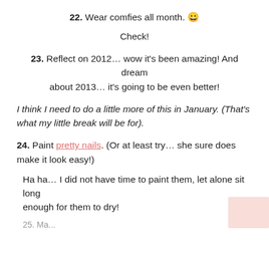22. Wear comfies all month. 😀
Check!
23. Reflect on 2012… wow it's been amazing! And dream about 2013… it's going to be even better!
I think I need to do a little more of this in January. (That's what my little break will be for).
24. Paint pretty nails. (Or at least try… she sure does make it look easy!)
Ha ha… I did not have time to paint them, let alone sit long enough for them to dry!
25. ...